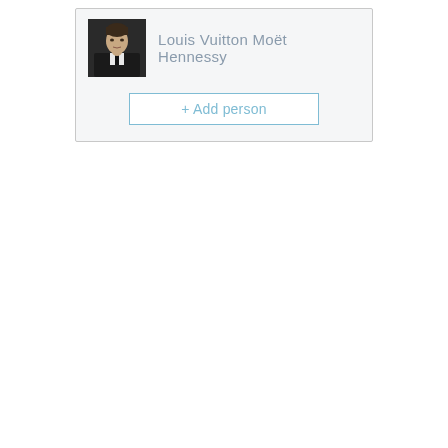[Figure (photo): Portrait photo of a person in a dark suit and tie against a dark background]
Louis Vuitton Moët Hennessy
+ Add person